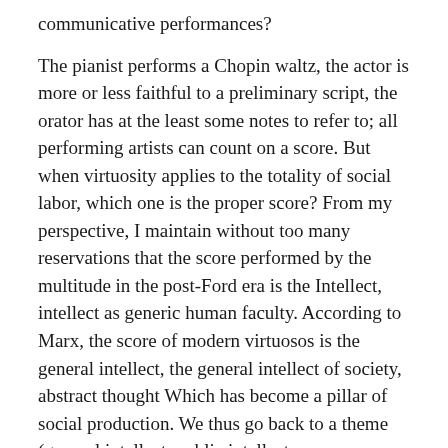communicative performances?
The pianist performs a Chopin waltz, the actor is more or less faithful to a preliminary script, the orator has at the least some notes to refer to; all performing artists can count on a score. But when virtuosity applies to the totality of social labor, which one is the proper score? From my perspective, I maintain without too many reservations that the score performed by the multitude in the post-Ford era is the Intellect, intellect as generic human faculty. According to Marx, the score of modern virtuosos is the general intellect, the general intellect of society, abstract thought Which has become a pillar of social production. We thus go back to a theme (general intellect, public intellect, "commonplaces," etc.) which we considered during the first day.